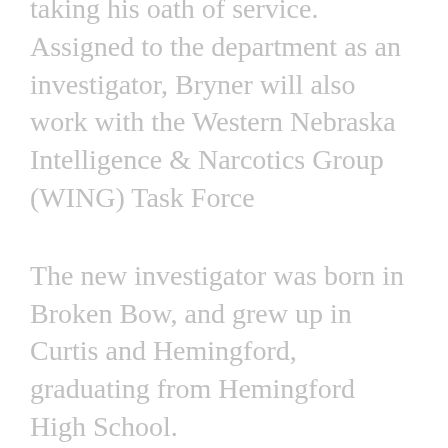taking his oath of service. Assigned to the department as an investigator, Bryner will also work with the Western Nebraska Intelligence & Narcotics Group (WING) Task Force
The new investigator was born in Broken Bow, and grew up in Curtis and Hemingford, graduating from Hemingford High School.
Bryner became interested in law enforcement in high school, and enlisted in the United States Army as an MP after graduation.
His career in law enforcement began in 2004 with the Alliance Police Department. He later became the Chief of Police in Hemingford in 2015, a position he